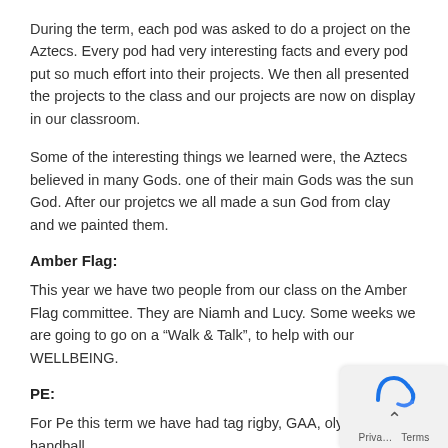During the term, each pod was asked to do a project on the Aztecs. Every pod had very interesting facts and every pod put so much effort into their projects. We then all presented the projects to the class and our projects are now on display in our classroom.
Some of the interesting things we learned were, the Aztecs believed in many Gods. one of their main Gods was the sun God. After our projetcs we all made a sun God from clay and we painted them.
Amber Flag:
This year we have two people from our class on the Amber Flag committee. They are Niamh and Lucy. Some weeks we are going to go on a “Walk & Talk”, to help with our WELLBEING.
PE:
For Pe this term we have had tag rigby, GAA, olympic handball